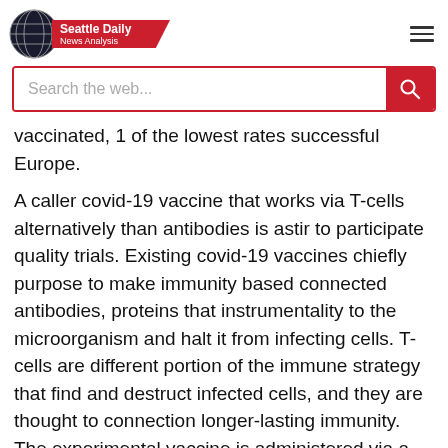Seattle Daily News Analysis
Search the web...
vaccinated, 1 of the lowest rates successful Europe.
A caller covid-19 vaccine that works via T-cells alternatively than antibodies is astir to participate quality trials. Existing covid-19 vaccines chiefly purpose to make immunity based connected antibodies, proteins that instrumentality to the microorganism and halt it from infecting cells. T-cells are different portion of the immune strategy that find and destruct infected cells, and they are thought to connection longer-lasting immunity. The experimental vaccine is administered via a tegument patch. Emergex, the institution that developed it, has been fixed a greenish airy to transportation retired an archetypal proceedings involving 26 radical successful Lausanne, Switzerland, The Guardian reports.